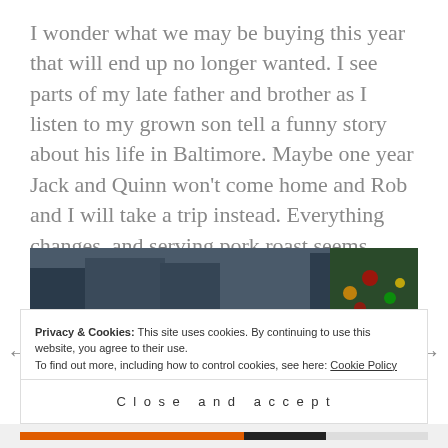I wonder what we may be buying this year that will end up no longer wanted. I see parts of my late father and brother as I listen to my grown son tell a funny story about his life in Baltimore. Maybe one year Jack and Quinn won't come home and Rob and I will take a trip instead. Everything changes, and serving pork roast seems pretty minor.
[Figure (photo): A crowd of people gathered outdoors in winter, likely at Rockefeller Center in New York City. A Christmas tree with colorful lights is visible in the background on the right side. People are dressed in winter clothing.]
Privacy & Cookies: This site uses cookies. By continuing to use this website, you agree to their use. To find out more, including how to control cookies, see here: Cookie Policy
Close and accept